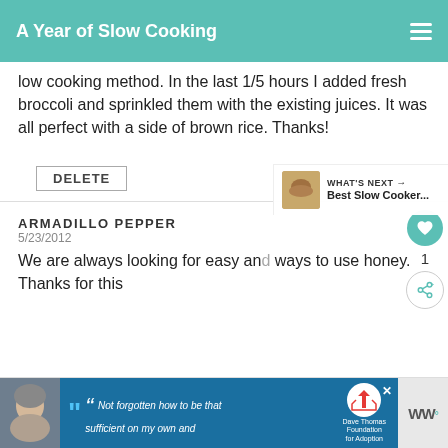A Year of Slow Cooking
low cooking method. In the last 1/5 hours I added fresh broccoli and sprinkled them with the existing juices. It was all perfect with a side of brown rice. Thanks!
DELETE
ARMADILLO PEPPER
5/23/2012
We are always looking for easy and ways to use honey. Thanks for this
WHAT'S NEXT → Best Slow Cooker...
[Figure (screenshot): Advertisement banner with a person in a beanie hat, Dave Thomas Foundation for Adoption logo, and quote text]